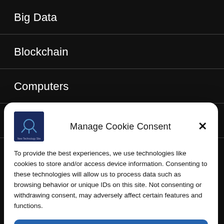Big Data
Blockchain
Computers
Computing Power
Manage Cookie Consent
To provide the best experiences, we use technologies like cookies to store and/or access device information. Consenting to these technologies will allow us to process data such as browsing behavior or unique IDs on this site. Not consenting or withdrawing consent, may adversely affect certain features and functions.
Accept